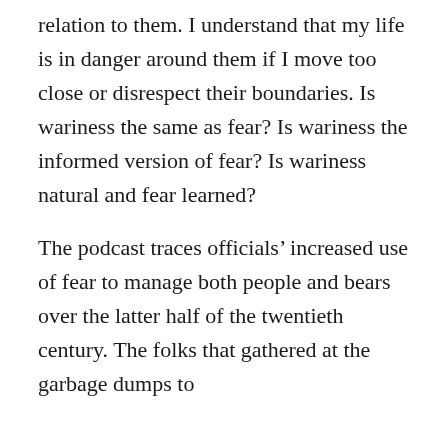relation to them. I understand that my life is in danger around them if I move too close or disrespect their boundaries. Is wariness the same as fear? Is wariness the informed version of fear? Is wariness natural and fear learned?
The podcast traces officials' increased use of fear to manage both people and bears over the latter half of the twentieth century. The folks that gathered at the garbage dumps to